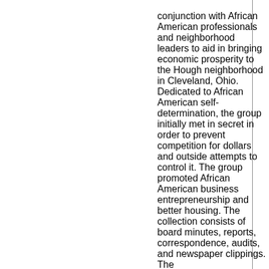conjunction with African American professionals and neighborhood leaders to aid in bringing economic prosperity to the Hough neighborhood in Cleveland, Ohio. Dedicated to African American self-determination, the group initially met in secret in order to prevent competition for dollars and outside attempts to control it. The group promoted African American business entrepreneurship and better housing. The collection consists of board minutes, reports, correspondence, audits, and newspaper clippings. The